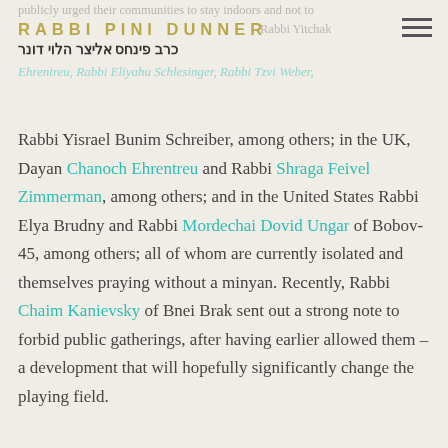RABBI PINI DUNNER / כרב פינחס אליצר הלוי דונר
Rabbi Yisrael Bunim Schreiber, among others; in the UK, Dayan Chanoch Ehrentreu and Rabbi Shraga Feivel Zimmerman, among others; and in the United States Rabbi Elya Brudny and Rabbi Mordechai Dovid Ungar of Bobov-45, among others; all of whom are currently isolated and themselves praying without a minyan. Recently, Rabbi Chaim Kanievsky of Bnei Brak sent out a strong note to forbid public gatherings, after having earlier allowed them – a development that will hopefully significantly change the playing field.